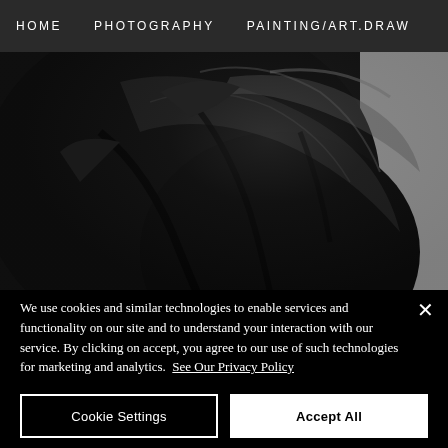HOME   PHOTOGRAPHY   PAINTING/ART.DRAW
[Figure (photo): Close-up photograph of a dark black sculptural object with rough, textured surface against a white background. The sculpture appears to be made of charred or dark material with deep crevices and irregular forms.]
We use cookies and similar technologies to enable services and functionality on our site and to understand your interaction with our service. By clicking on accept, you agree to our use of such technologies for marketing and analytics.  See Our Privacy Policy
Cookie Settings
Accept All